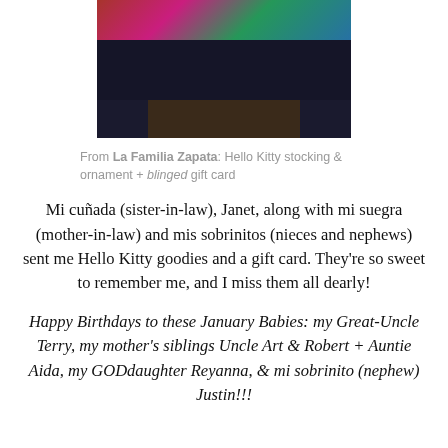[Figure (photo): Photo of Hello Kitty stocking, ornament, and gifts on a dark background with colorful items]
From La Familia Zapata: Hello Kitty stocking & ornament + blinged gift card
Mi cuñada (sister-in-law), Janet, along with mi suegra (mother-in-law) and mis sobrinitos (nieces and nephews) sent me Hello Kitty goodies and a gift card. They're so sweet to remember me, and I miss them all dearly!
Happy Birthdays to these January Babies: my Great-Uncle Terry, my mother's siblings Uncle Art & Robert + Auntie Aida, my GODdaughter Reyanna, & mi sobrinito (nephew) Justin!!!